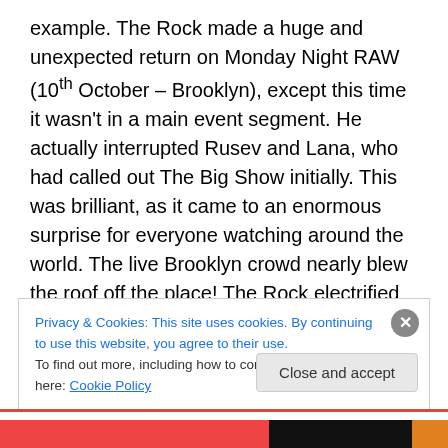example. The Rock made a huge and unexpected return on Monday Night RAW (10th October – Brooklyn), except this time it wasn't in a main event segment. He actually interrupted Rusev and Lana, who had called out The Big Show initially. This was brilliant, as it came to an enormous surprise for everyone watching around the world. The live Brooklyn crowd nearly blew the roof off the place! The Rock electrified as per usual, dropping his epic one-liners as only 'The Great One' could. What disappointed me though was having The Rock triumph in that segment. As you may or may not know, I'm a pretty avid Rock fan, but
Privacy & Cookies: This site uses cookies. By continuing to use this website, you agree to their use.
To find out more, including how to control cookies, see here: Cookie Policy
Close and accept